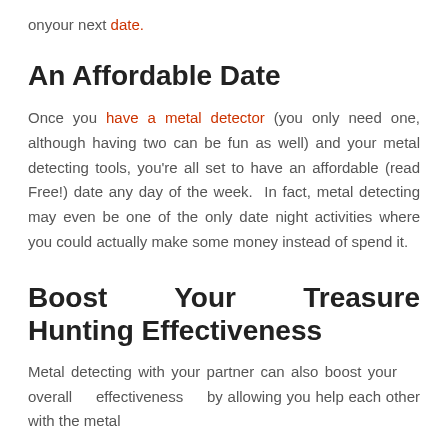on your next date.
An Affordable Date
Once you have a metal detector (you only need one, although having two can be fun as well) and your metal detecting tools, you're all set to have an affordable (read Free!) date any day of the week. In fact, metal detecting may even be one of the only date night activities where you could actually make some money instead of spend it.
Boost Your Treasure Hunting Effectiveness
Metal detecting with your partner can also boost your overall effectiveness by allowing you help each other with the metal